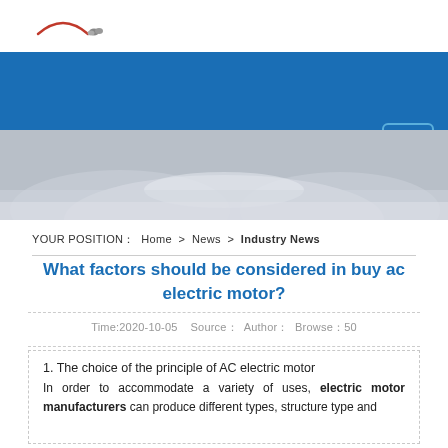[Figure (logo): Company logo with red arc and small icon]
[Figure (illustration): Blue navigation bar with hamburger menu button on the right]
[Figure (photo): Hero banner image with gray/blue industrial background]
YOUR POSITION：Home > News > Industry News
What factors should be considered in buy ac electric motor?
Time:2020-10-05   Source：  Author：  Browse：50
1. The choice of the principle of AC electric motor
In order to accommodate a variety of uses, electric motor manufacturers can produce different types, structure type and